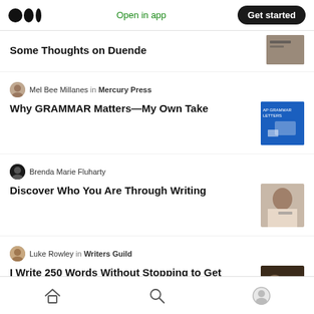Medium logo | Open in app | Get started
Some Thoughts on Duende
Mel Bee Millanes in Mercury Press
Why GRAMMAR Matters—My Own Take
Brenda Marie Fluharty
Discover Who You Are Through Writing
Luke Rowley in Writers Guild
I Write 250 Words Without Stopping to Get Through Writer's Block
Home | Search | Profile